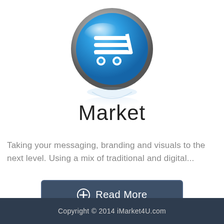[Figure (illustration): A shiny blue circular button icon featuring a white shopping cart symbol, with a metallic chrome ring border and a reflection below it.]
Market
Taking your messaging, branding and visuals to the next level. Using a mix of traditional and digital...
[Figure (other): A dark steel-blue rounded rectangle button labeled 'Read More' with a circled plus icon on the left.]
Copyright © 2014 iMarket4U.com